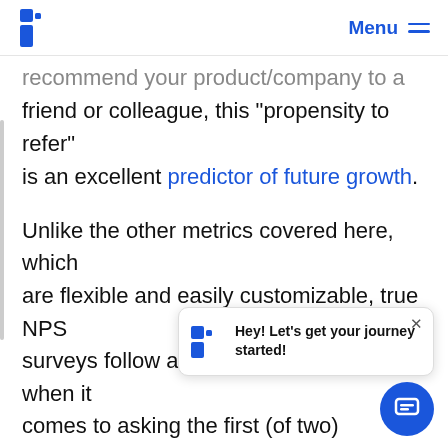Menu
recommend your product/company to a friend or colleague, this “propensity to refer” is an excellent predictor of future growth.
Unlike the other metrics covered here, which are flexible and easily customizable, true NPS surveys follow a very specific format when it comes to asking the first (of two) questions. By asking t[he first question in a specific way], using a sta[ndard 0-10 scale], companies can compare their NPS scores to industry benchmarks. The second question, which gathers qualitative data regarding [improvement opportunities for left]